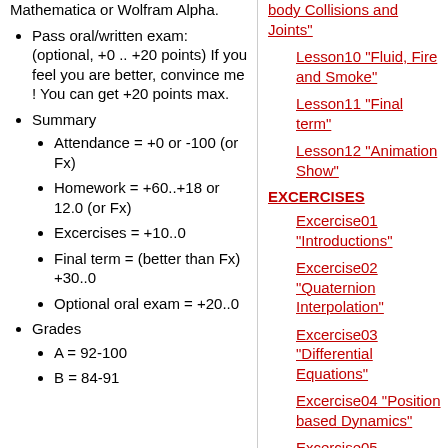Mathematica or Wolfram Alpha.
Pass oral/written exam: (optional, +0 .. +20 points) If you feel you are better, convince me ! You can get +20 points max.
Summary
Attendance = +0 or -100 (or Fx)
Homework = +60..+18 or 12.0 (or Fx)
Excercises = +10..0
Final term = (better than Fx) +30..0
Optional oral exam = +20..0
Grades
A = 92-100
B = 84-91
body Collisions and Joints"
Lesson10 "Fluid, Fire and Smoke"
Lesson11 "Final term"
Lesson12 "Animation Show"
EXCERCISES
Excercise01 "Introductions"
Excercise02 "Quaternion Interpolation"
Excercise03 "Differential Equations"
Excercise04 "Position based Dynamics"
Excercise05